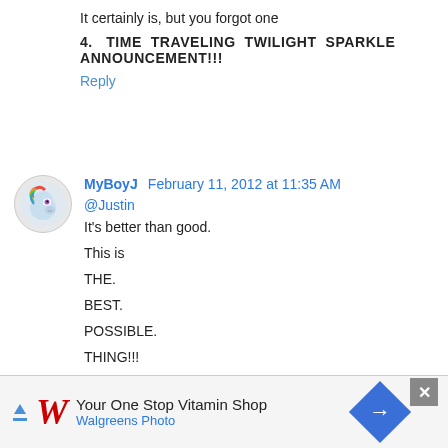It certainly is, but you forgot one
4.   TIME  TRAVELING  TWILIGHT  SPARKLE ANNOUNCEMENT!!!
Reply
MyBoyJ  February 11, 2012 at 11:35 AM
@Justin

It's better than good.

This is

THE.

BEST.

POSSIBLE.

THING!!!
[Figure (other): Walgreens Photo advertisement banner: Your One Stop Vitamin Shop]